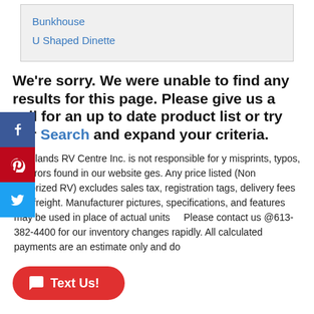Bunkhouse
U Shaped Dinette
We're sorry. We were unable to find any results for this page. Please give us a call for an up to date product list or try our Search and expand your criteria.
00 Islands RV Centre Inc. is not responsible for y misprints, typos, or errors found in our website ges. Any price listed (Non Motorized RV) excludes sales tax, registration tags, delivery fees and freight. Manufacturer pictures, specifications, and features may be used in place of actual units Please contact us @613-382-4400 for our inventory changes rapidly. All calculated payments are an estimate only and do